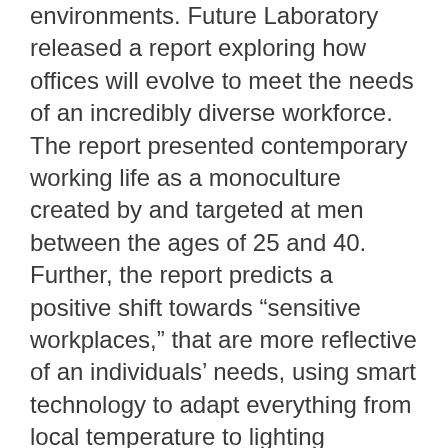environments. Future Laboratory released a report exploring how offices will evolve to meet the needs of an incredibly diverse workforce. The report presented contemporary working life as a monoculture created by and targeted at men between the ages of 25 and 40. Further, the report predicts a positive shift towards “sensitive workplaces,” that are more reflective of an individuals’ needs, using smart technology to adapt everything from local temperature to lighting preferences.
We believe the limitations of the current approach to standard office design may essentially lie in its male driven approach. Spaces designed for men, by men. With this in mind, before designing our office we tried and tested many different working arrangement–cafes, home, co-working spaces, to see what we could take from and